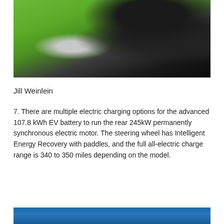[Figure (photo): Photo of an electric vehicle on grass, showing the wheel and charging equipment]
Jill Weinlein
7. There are multiple electric charging options for the advanced 107.8 kWh EV battery to run the rear 245kW permanently synchronous electric motor. The steering wheel has Intelligent Energy Recovery with paddles, and the full all-electric charge range is 340 to 350 miles depending on the model.
[Figure (photo): Partial photo at bottom of page, showing blue background]